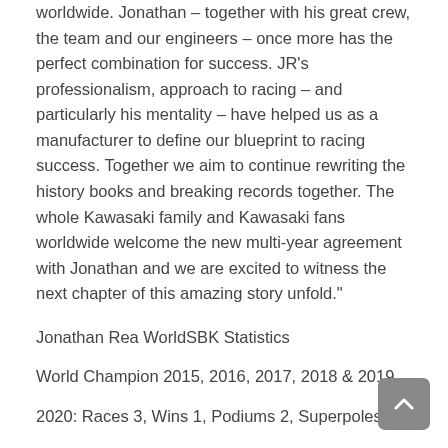worldwide. Jonathan – together with his great crew, the team and our engineers – once more has the perfect combination for success. JR's professionalism, approach to racing – and particularly his mentality – have helped us as a manufacturer to define our blueprint to racing success. Together we aim to continue rewriting the history books and breaking records together. The whole Kawasaki family and Kawasaki fans worldwide welcome the new multi-year agreement with Jonathan and we are excited to witness the next chapter of this amazing story unfold."
Jonathan Rea WorldSBK Statistics
World Champion 2015, 2016, 2017, 2018 & 2019
2020: Races 3, Wins 1, Podiums 2, Superpoles 0
Career Race Wins: 89 (74 for Kawasaki)